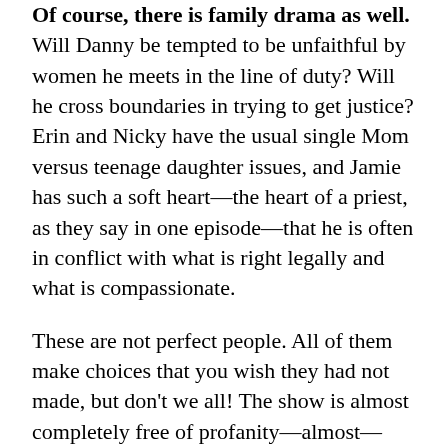Of course, there is family drama as well. Will Danny be tempted to be unfaithful by women he meets in the line of duty?  Will he cross boundaries in trying to get justice?  Erin and Nicky have the usual single Mom versus teenage daughter issues, and Jamie has such a soft heart—the heart of a priest, as they say in one episode—that he is often in conflict with what is right legally and what is compassionate.
These are not perfect people.  All of them make choices that you wish they had not made, but don't we all!  The show is almost completely free of profanity—almost—which is refreshing. You can actually admire all of the main characters.  The action and drama are absolutely engaging.
Evil is always evil and never good.  That fact sets this